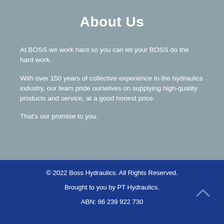About Us
At BOSS we work hard so you can let your BOSS do the hard work.
With over 150 years of collective experience in the hydraulics industry, our team pride ourselves on supplying high-quality products and service, at a good honest price.
That's our promise to you.
© 2022 Boss Hydraulics.  All Rights Reserved.
Brought to you by PT Hydraulics.
ABN: 86 239 922 730